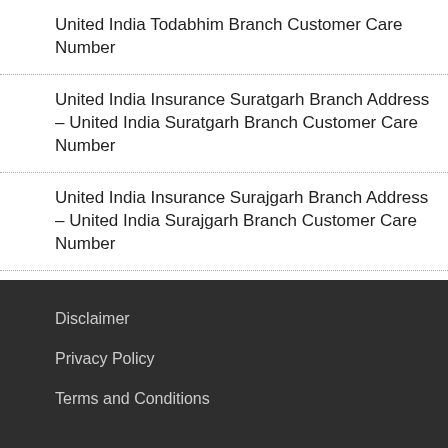United India Todabhim Branch Customer Care Number
United India Insurance Suratgarh Branch Address – United India Suratgarh Branch Customer Care Number
United India Insurance Surajgarh Branch Address – United India Surajgarh Branch Customer Care Number
United India Insurance Sikar Branch Address – United India Sikar Branch Customer Care Number
Disclaimer
Privacy Policy
Terms and Conditions